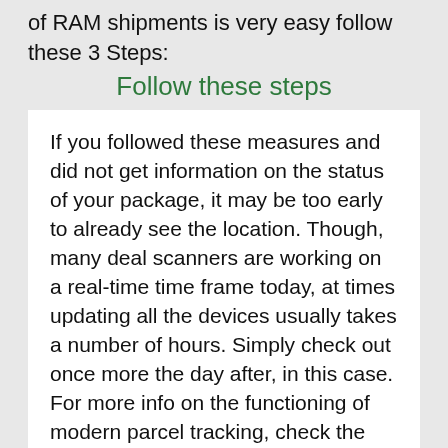of RAM shipments is very easy follow these 3 Steps:
Follow these steps
If you followed these measures and did not get information on the status of your package, it may be too early to already see the location. Though, many deal scanners are working on a real-time time frame today, at times updating all the devices usually takes a number of hours. Simply check out once more the day after, in this case. For more info on the functioning of modern parcel tracking, check the section below.